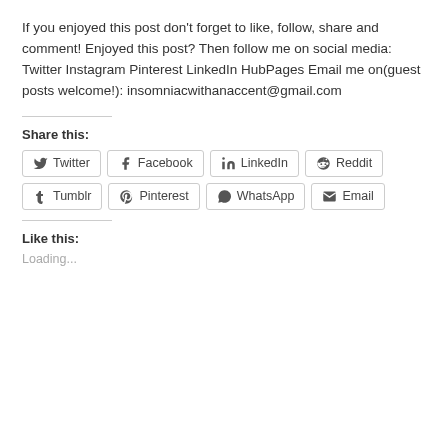If you enjoyed this post don't forget to like, follow, share and comment! Enjoyed this post? Then follow me on social media: Twitter Instagram Pinterest LinkedIn HubPages Email me on(guest posts welcome!): insomniacwithanaccent@gmail.com
Share this:
Twitter Facebook LinkedIn Reddit Tumblr Pinterest WhatsApp Email
Like this:
Loading...